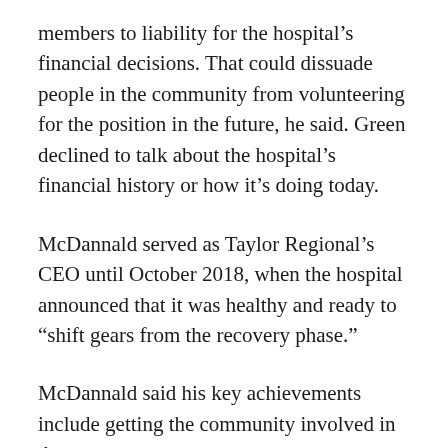members to liability for the hospital's financial decisions. That could dissuade people in the community from volunteering for the position in the future, he said. Green declined to talk about the hospital's financial history or how it's doing today.
McDannald served as Taylor Regional's CEO until October 2018, when the hospital announced that it was healthy and ready to “shift gears from the recovery phase.”
McDannald said his key achievements include getting the community involved in the